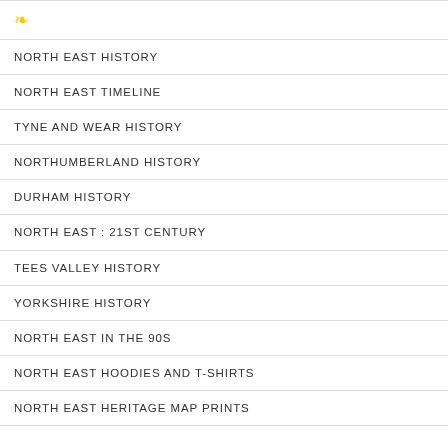[Figure (other): Yellow map pin / location icon]
NORTH EAST HISTORY
NORTH EAST TIMELINE
TYNE AND WEAR HISTORY
NORTHUMBERLAND HISTORY
DURHAM HISTORY
NORTH EAST : 21ST CENTURY
TEES VALLEY HISTORY
YORKSHIRE HISTORY
NORTH EAST IN THE 90S
NORTH EAST HOODIES AND T-SHIRTS
NORTH EAST HERITAGE MAP PRINTS